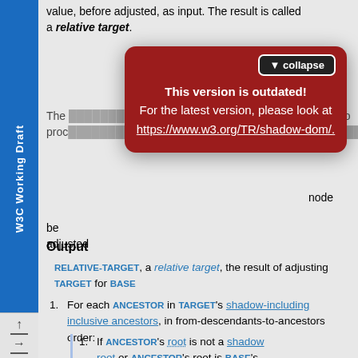value, before adjusted, as input. The result is called a relative target.
[Figure (screenshot): Red modal overlay with 'collapse' button and warning: 'This version is outdated! For the latest version, please look at https://www.w3.org/TR/shadow-dom/.']
be adjusted
Output
RELATIVE-TARGET, a relative target, the result of adjusting TARGET for BASE
For each ANCESTOR in TARGET's shadow-including inclusive ancestors, in from-descendants-to-ancestors order:
If ANCESTOR's root is not a shadow root or ANCESTOR's root is BASE's